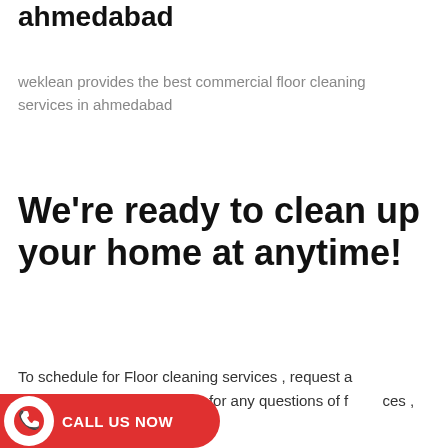ahmedabad
weklean provides the best commercial floor cleaning services in ahmedabad
We're ready to clean up your home at anytime!
To schedule for Floor cleaning services , request a professional to our weklean, for any questions of [services] , you can call on 8004561000
[Figure (infographic): Red CTA button with phone icon and text CALL US NOW]